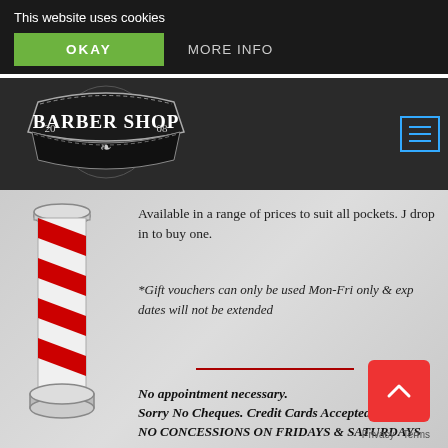This website uses cookies
OKAY
MORE INFO
[Figure (logo): Barber Shop logo with '20 08' on sides, white text on dark badge with decorative border]
Available in a range of prices to suit all pockets. J drop in to buy one.
*Gift vouchers can only be used Mon-Fri only & exp dates will not be extended
No appointment necessary.
Sorry No Cheques. Credit Cards Accepted
NO CONCESSIONS ON FRIDAYS & SATURDAYS
Privacy · Terms